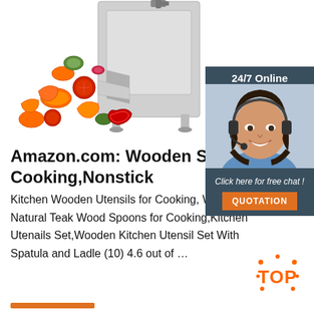[Figure (photo): Commercial vegetable slicer/chopper machine (stainless steel) with sliced vegetables (carrots, tomatoes, bell peppers, cucumber) flying out of it]
[Figure (infographic): 24/7 Online customer chat widget with a woman agent wearing headset, 'Click here for free chat!' text, and an orange QUOTATION button]
Amazon.com: Wooden Spoons Cooking,Nonstick
Kitchen Wooden Utensils for Cooking, Wood Utensil Natural Teak Wood Spoons for Cooking,Kitchen Utenails Set,Wooden Kitchen Utensil Set With Spatula and Ladle (10) 4.6 out of …
[Figure (logo): TOP badge with orange dots/stars around it]